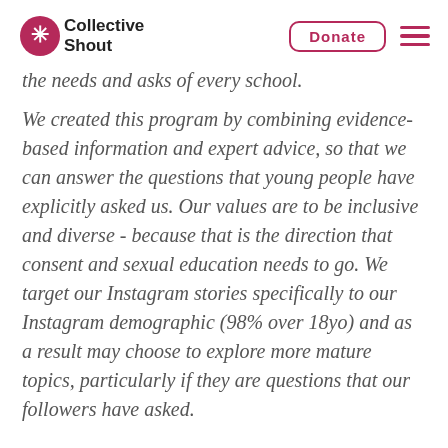Collective Shout | Donate
the needs and asks of every school.
We created this program by combining evidence-based information and expert advice, so that we can answer the questions that young people have explicitly asked us. Our values are to be inclusive and diverse - because that is the direction that consent and sexual education needs to go. We target our Instagram stories specifically to our Instagram demographic (98% over 18yo) and as a result may choose to explore more mature topics, particularly if they are questions that our followers have asked.